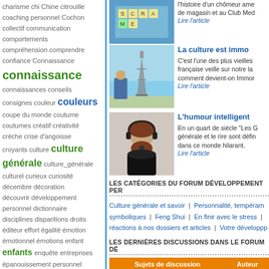charisme chi Chine citrouille coaching personnel Cochon collectif communication comportements compréhension comprendre confiance Connaissance connaissance connaissances conseils consignes couleur couleurs coupe du monde coutume coutumes créatif créativité crèche crise d'angoisse croyants culture culture générale culture_générale culturel curieux curiosité décembre décoration découvrir développement personnel dictionnaire disciplines disparitions droits éditeur effort égalité émotion émotionnel émotions enfant enfants enquête entreprises épanouissement personnel équilibre esprit esprits étudiants Eurovision 2008 évaluer événement exercice exercices existence extraterrestres familial famille fantastique femmes feng shui festival fête Fêtes filles fils flux d'énergie Français française France gagner gâteau généalogie génération gestion du stress habitation habitude Halloween harmonie heureux historique homme hommes hospitalité humour île intelligience
[Figure (photo): Scrabble board tiles photo]
l'histoire d'un chômeur ame de magasin et au Club Med
Lire l'article
[Figure (photo): Man reading near Eiffel Tower]
La culture est immo
C'est l'une des plus vieilles française veille sur notre la comment devient-on Immor
Lire l'article
[Figure (photo): Woman with headphones]
L'humour intelligent
En un quart de siècle "Les G générale et le rire sont défin dans ce monde hilarant.
Lire l'article
LES CATÉGORIES DU FORUM DÉVELOPPEMENT PER
Culture générale et savoir | Personnalité, tempéram symboliques | Feng Shui | En finir avec le stress | réactions à nos dossiers et articles | Votre développp
LES DERNIÈRES DISCUSSIONS DANS LE FORUM DÉ
| Sujets de discussion | Auteur |
| --- | --- |